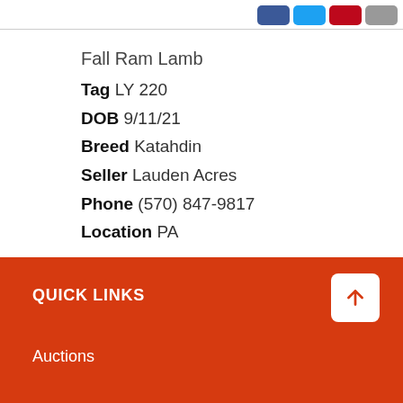Social share buttons (Facebook, Twitter, Pinterest, Email)
Fall Ram Lamb
Tag LY 220
DOB 9/11/21
Breed Katahdin
Seller Lauden Acres
Phone (570) 847-9817
Location PA
QUICK LINKS
Auctions